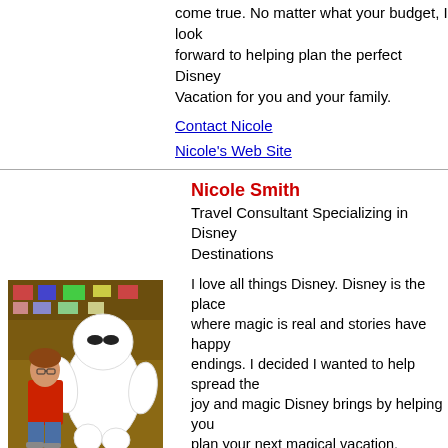come true. No matter what your budget, I look forward to helping plan the perfect Disney Vacation for you and your family.
Contact Nicole
Nicole's Web Site
Nicole Smith
Travel Consultant Specializing in Disney Destinations
[Figure (photo): Woman posing with Baymax (Big Hero 6) character costume inside a Disney store]
I love all things Disney. Disney is the place where magic is real and stories have happy endings. I decided I wanted to help spread the joy and magic Disney brings by helping you plan your next magical vacation.
I'm happily married with 2 Dis-nerd daughters
Contact Nicole
Tel. 412-249-8255